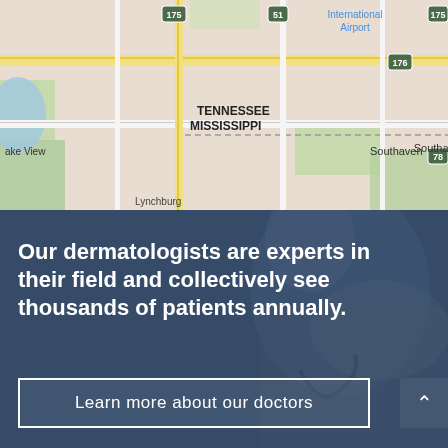[Figure (map): Google Maps view showing the Tennessee-Mississippi border area, including Southaven, Lake View, and Memphis International Airport. Shows road network with highways 175, 51, 176, 78.]
[Figure (photo): Doctor in white coat with stethoscope, smiling, with blue overlay tint. Background promotional section for dermatology practice.]
Our dermatologists are experts in their field and collectively see thousands of patients annually.
Learn more about our doctors